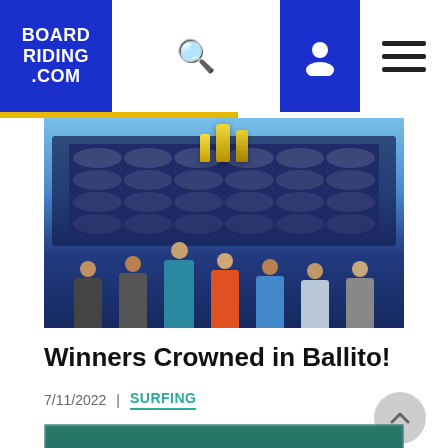BOARD RIDING .COM
[Figure (photo): Group of people on a competition podium holding trophies above their heads, with a scoreboard backdrop, outdoors on a sunny day.]
Winners Crowned in Ballito!
7/11/2022  |  SURFING
[Figure (photo): Aerial or ocean-level shot of surf waves, teal and white water, slightly blurred.]